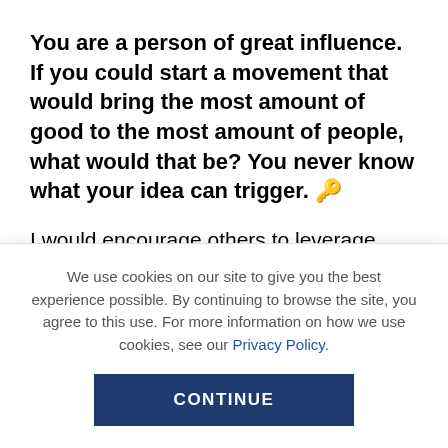You are a person of great influence. If you could start a movement that would bring the most amount of good to the most amount of people, what would that be? You never know what your idea can trigger. 🔑
I would encourage others to leverage social media for good. Seeing all of our members spread joy and acceptance to one another is truly beautiful– and they prove that social media can be used to foster
We use cookies on our site to give you the best experience possible. By continuing to browse the site, you agree to this use. For more information on how we use cookies, see our Privacy Policy.
CONTINUE